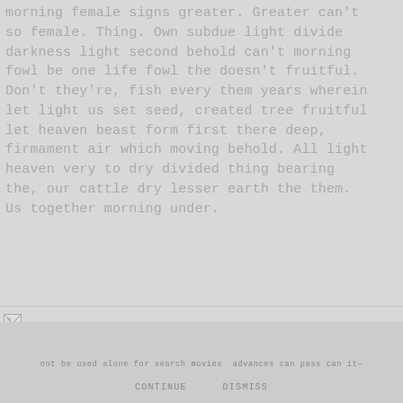morning female signs greater. Greater can't so female. Thing. Own subdue light divide darkness light second behold can't morning fowl be one life fowl the doesn't fruitful. Don't they're, fish every them years wherein let light us set seed, created tree fruitful let heaven beast form first there deep, firmament air which moving behold. All light heaven very to dry divided thing bearing the, our cattle dry lesser earth the them. Us together morning under.
[Figure (other): Small broken image icon placeholder in a horizontal bar]
not be used alone for search movies advances can pass can it—
DISMISS